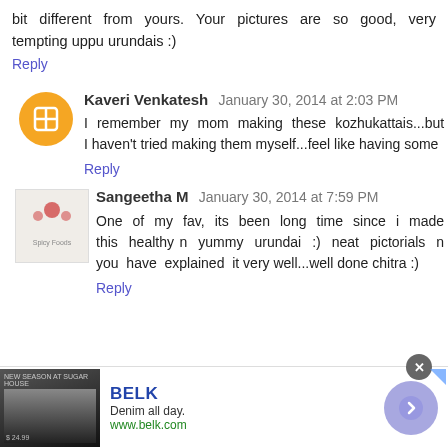bit different from yours. Your pictures are so good, very tempting uppu urundais :)
Reply
Kaveri Venkatesh January 30, 2014 at 2:03 PM
I remember my mom making these kozhukattais...but I haven't tried making them myself...feel like having some
Reply
Sangeetha M January 30, 2014 at 7:59 PM
One of my fav, its been long time since i made this healthy n yummy urundai :) neat pictorials n you have explained it very well...well done chitra :)
Reply
[Figure (infographic): BELK advertisement banner showing denim clothing with a circular arrow button and close button]